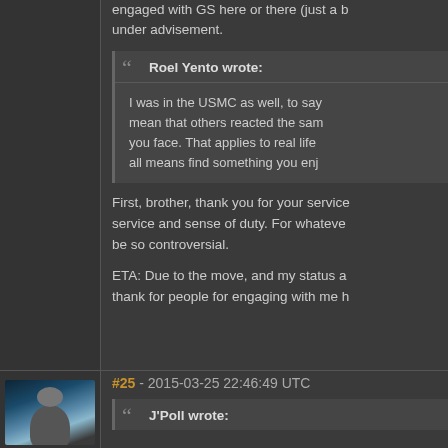engaged with GS here or there (just a b... under advisement.
Roel Yento wrote:
I was in the USMC as well, to say... mean that others reacted the sam... you face. That applies to real life ... all means find something you enj...
First, brother, thank you for your service... service and sense of duty. For whateve... be so controversial.
ETA: Due to the move, and my status a... thank for people for engaging with me h...
#25 - 2015-03-25 22:46:49 UTC
J'Poll wrote:
[Figure (photo): Forum user avatar photo showing a person's face with blue/teal background lighting]